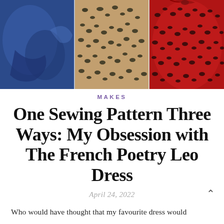[Figure (photo): Three fabric panels side by side: left panel is plain blue fabric, center panel is beige/dark green leopard print fabric, right panel is red fabric with black leopard print spots and a ruffle/bow detail at top.]
MAKES
One Sewing Pattern Three Ways: My Obsession with The French Poetry Leo Dress
April 24, 2022
Who would have thought that my favourite dress would